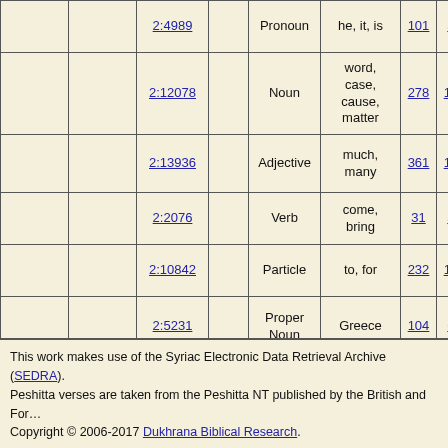|  |  | Lexeme |  | Part of Speech | Definition | Col7 | Col8 | Reference |
| --- | --- | --- | --- | --- | --- | --- | --- | --- |
|  |  | 2:4989 |  | Pronoun | he, it, is | 101 | 59 | 6204-2002 |
|  |  | 2:12078 |  | Noun | word, case, cause, matter | 278 | 125 | 6204-2002 |
|  |  | 2:13936 |  | Adjective | much, many | 361 | 147 | 6204-2002 |
|  |  | 2:2076 |  | Verb | come, bring | 31 | 31 | 6204-2002 |
|  |  | 2:10842 |  | Particle | to, for | 232 | 107 | 6204-2002 |
|  |  | 2:5231 |  | Proper Noun | Greece | 104 | 60 | 6204-2002 |
|  |  | 2:2201 |  | Noun | region, place, country, respite, space or room | 33 | 32 | 6204-2002 |
This work makes use of the Syriac Electronic Data Retrieval Archive (SEDRA). Peshitta verses are taken from the Peshitta NT published by the British and Foreign... Copyright © 2006-2017 Dukhrana Biblical Research.